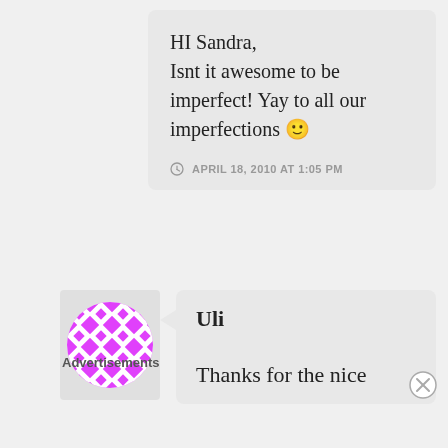HI Sandra, Isnt it awesome to be imperfect! Yay to all our imperfections 🙂
APRIL 18, 2010 AT 1:05 PM
[Figure (illustration): Circular avatar with magenta/pink geometric diamond pattern on white background]
Uli
Thanks for the nice
Advertisements